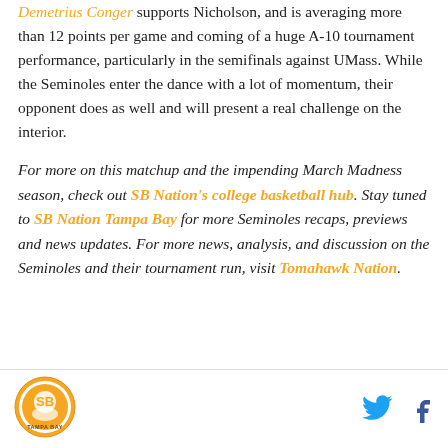Demetrius Conger supports Nicholson, and is averaging more than 12 points per game and coming of a huge A-10 tournament performance, particularly in the semifinals against UMass. While the Seminoles enter the dance with a lot of momentum, their opponent does as well and will present a real challenge on the interior.
For more on this matchup and the impending March Madness season, check out SB Nation's college basketball hub. Stay tuned to SB Nation Tampa Bay for more Seminoles recaps, previews and news updates. For more news, analysis, and discussion on the Seminoles and their tournament run, visit Tomahawk Nation.
[Figure (logo): Tampa Bay SB Nation circular logo with orange and white design]